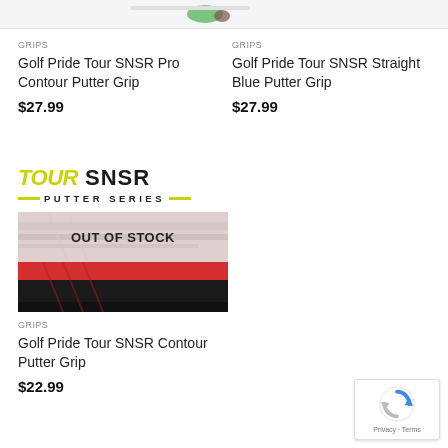[Figure (other): Partial logo/branding image at top of page (cropped)]
GRIPS
Golf Pride Tour SNSR Pro Contour Putter Grip
$27.99
GRIPS
Golf Pride Tour SNSR Straight Blue Putter Grip
$27.99
[Figure (logo): TOUR SNSR PUTTER SERIES logo with yellow-green italic TOUR text and black SNSR text, with PUTTER SERIES subtitle with yellow dashes]
[Figure (photo): Product image of Golf Pride Tour SNSR Contour Putter Grip, showing two halves: upper half with OUT OF STOCK overlay (pinkish tint), lower half showing red/black grip]
GRIPS
Golf Pride Tour SNSR Contour Putter Grip
$22.99
[Figure (other): reCAPTCHA badge with Privacy and Terms links]